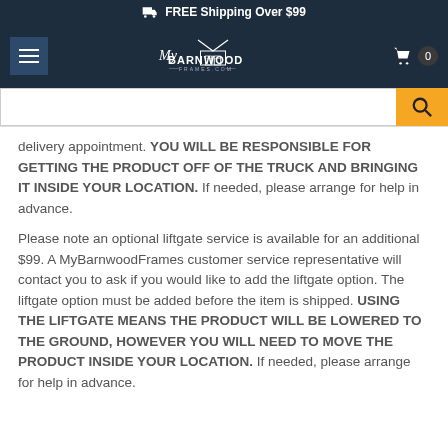FREE Shipping Over $99
[Figure (screenshot): MyBarnwoodFrames.com navigation bar with hamburger menu, logo, and cart icon showing 0 items]
[Figure (screenshot): Search bar with orange search button]
delivery appointment. YOU WILL BE RESPONSIBLE FOR GETTING THE PRODUCT OFF OF THE TRUCK AND BRINGING IT INSIDE YOUR LOCATION. If needed, please arrange for help in advance.
Please note an optional liftgate service is available for an additional $99. A MyBarnwoodFrames customer service representative will contact you to ask if you would like to add the liftgate option. The liftgate option must be added before the item is shipped. USING THE LIFTGATE MEANS THE PRODUCT WILL BE LOWERED TO THE GROUND, HOWEVER YOU WILL NEED TO MOVE THE PRODUCT INSIDE YOUR LOCATION. If needed, please arrange for help in advance.